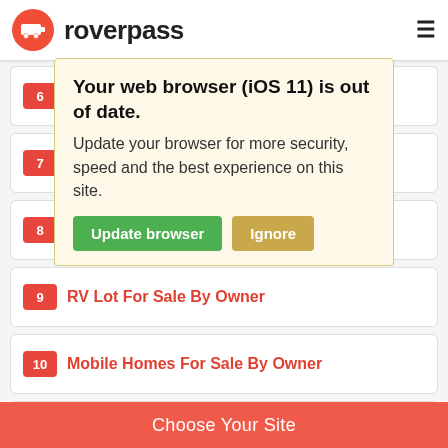roverpass
[Figure (screenshot): Browser outdated warning popup overlay with title 'Your web browser (iOS 11) is out of date.' and body text 'Update your browser for more security, speed and the best experience on this site.' with 'Update browser' green button and 'Ignore' tan button]
6  RV Ca...
7  Camp...
8  Monthly RV Rentals
9  RV Lot For Sale By Owner
10  Mobile Homes For Sale By Owner
11  Used RVs For Sale By Owner
12  RV Camp...
Choose Your Site